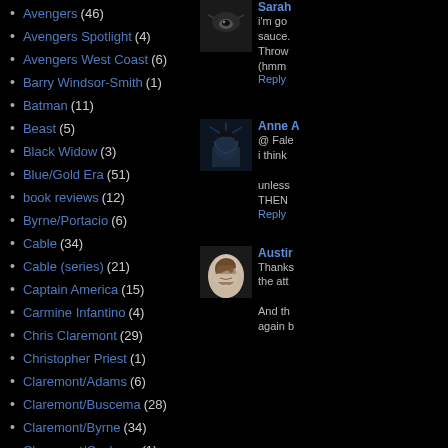Avengers (46)
Avengers Spotlight (4)
Avengers West Coast (6)
Barry Windsor-Smith (1)
Batman (11)
Beast (5)
Black Widow (3)
Blue/Gold Era (51)
book reviews (12)
Byrne/Portacio (6)
Cable (34)
Cable (series) (21)
Captain America (15)
Carmine Infantino (4)
Chris Claremont (29)
Christopher Priest (1)
Claremont/Adams (6)
Claremont/Buscema (28)
Claremont/Byrne (34)
Claremont/Cockrum (1)
Claremont/Cockrum II (26)
Claremont/Collins (3)
Claremont/Davis (20)
Sarah
i'm go
sauce.
Throw
(hmm
Reply
Anne A
@ Fale
i think

unless
THEN
Reply
Austir
Thanks
the att

And th
again b